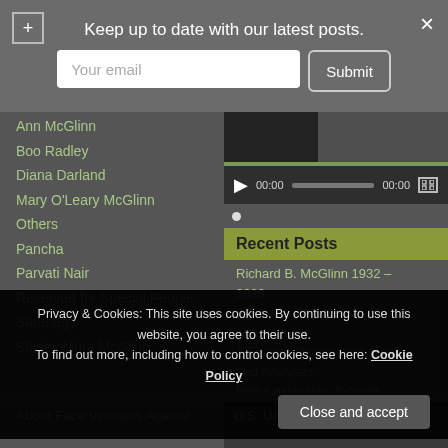Keep up to date with our latest posts.
Your email
Submit
Ann McGlinn
Boo Radley
Diana Darland
Mary O'Leary McGlinn
Others
Pancha
Parvati Nair
Reserved for Special People
Saranagti
Shirley Mura McGlinn
[Figure (screenshot): Video player with play button, time display 00:00, progress bar, and fullscreen button]
Recent Posts
Richard B. McGlinn 1932 – 2020
A Foreign Perspective, News and Analyses
A Foreign Perspective, News and Analyses
Beirut explosion: footage
Privacy & Cookies: This site uses cookies. By continuing to use this website, you agree to their use. To find out more, including how to control cookies, see here: Cookie Policy
Close and accept
About Face Veterans Against
U.S. Unprepared for COVID-19